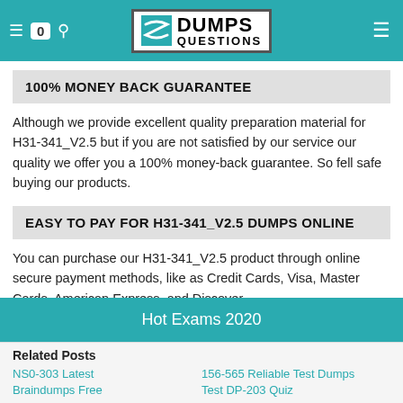DumpsQuestions – header with logo and navigation icons
100% MONEY BACK GUARANTEE
Although we provide excellent quality preparation material for H31-341_V2.5 but if you are not satisfied by our service our quality we offer you a 100% money-back guarantee. So fell safe buying our products.
EASY TO PAY FOR H31-341_V2.5 DUMPS ONLINE
You can purchase our H31-341_V2.5 product through online secure payment methods, like as Credit Cards, Visa, Master Cards, American Express, and Discover.
Hot Exams 2020
Related Posts
NS0-303 Latest Braindumps Free
156-565 Reliable Test Dumps
Test DP-203 Quiz